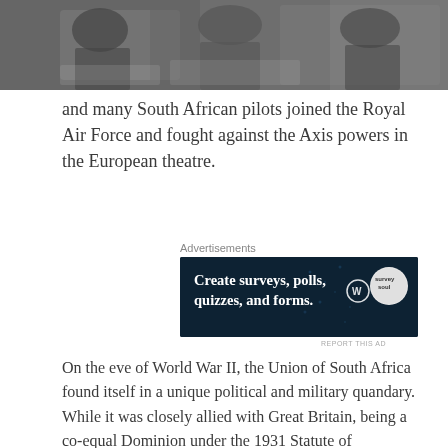[Figure (photo): Black and white photograph showing people, partially cropped at top of page]
and many South African pilots joined the Royal Air Force and fought against the Axis powers in the European theatre.
Advertisements
[Figure (other): Advertisement banner with dark navy background reading 'Create surveys, polls, quizzes, and forms.' with WordPress and survey tool logos]
REPORT THIS AD
On the eve of World War II, the Union of South Africa found itself in a unique political and military quandary. While it was closely allied with Great Britain, being a co-equal Dominion under the 1931 Statute of Westminster with its head of state being the British king, the South African Prime Minister on 1 September 1939 was J.B.M. Hertzog – the leader of the pro-Afrikaner and anti-British National Party.